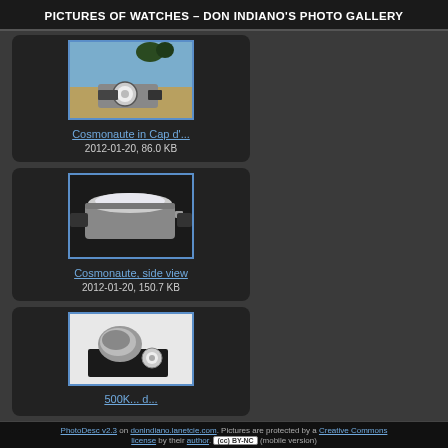PICTURES OF WATCHES – DON INDIANO'S PHOTO GALLERY
[Figure (photo): Thumbnail photo of a Cosmonaute watch in Cap d'... setting, outdoor background with sea and rocks]
Cosmonaute in Cap d'...
2012-01-20, 86.0 KB
[Figure (photo): Thumbnail photo of Cosmonaute watch, side view, showing crown and case profile on dark surface]
Cosmonaute, side view
2012-01-20, 150.7 KB
[Figure (photo): Thumbnail photo of a watch partially visible, appears to show watch components on black surface]
500K... d...
PhotoDesc v2.3 on donindiano.lanetcie.com. Pictures are protected by a Creative Commons license by their author. (cc) BY-NC (mobile version)